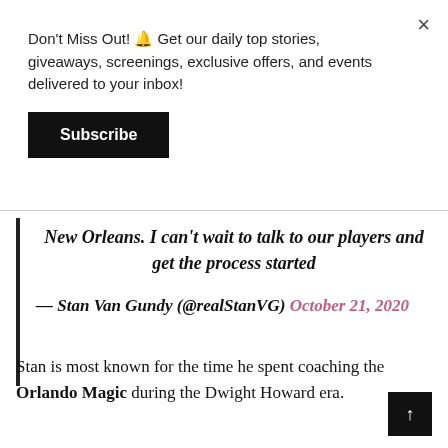Don't Miss Out! 🔔 Get our daily top stories, giveaways, screenings, exclusive offers, and events delivered to your inbox!
Subscribe
New Orleans. I can't wait to talk to our players and get the process started
— Stan Van Gundy (@realStanVG) October 21, 2020
Stan is most known for the time he spent coaching the Orlando Magic during the Dwight Howard era.